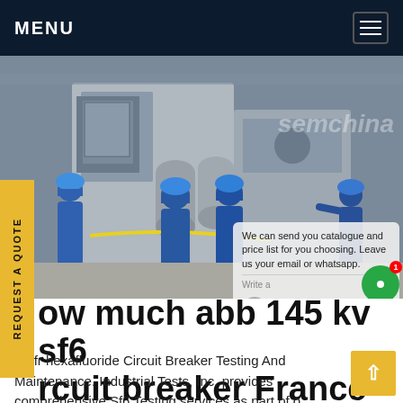MENU
[Figure (photo): Workers in blue coveralls and hard hats inspecting industrial electrical substation equipment outdoors]
REQUEST A QUOTE
We can send you catalogue and price list for you choosing. Leave us your email or whatsapp.
ow much abb 145 kv sf6 rcuit breaker France
Sulfr hexafluoride Circuit Breaker Testing And Maintenance. Industrial Tests, Inc. provides comprehensive Sf6 Testing services as part of our Electrical Testing and Maintenance services. We